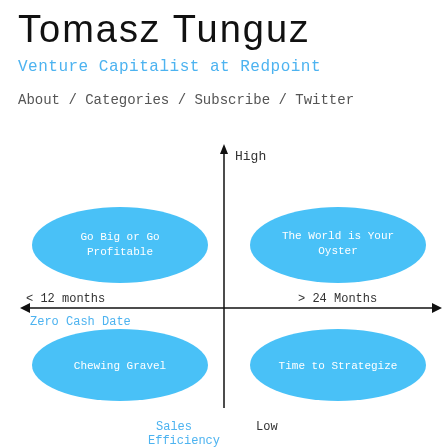Tomasz Tunguz
Venture Capitalist at Redpoint
About / Categories / Subscribe / Twitter
[Figure (other): 2x2 quadrant chart with axes: x-axis labeled 'Zero Cash Date' with '< 12 months' on the left and '> 24 Months' on the right; y-axis labeled 'Sales Efficiency' at the bottom and 'High' at the top. Four blue oval quadrant labels: upper-left 'Go Big or Go Profitable', upper-right 'The World is Your Oyster', lower-left 'Chewing Gravel', lower-right 'Time to Strategize'.]